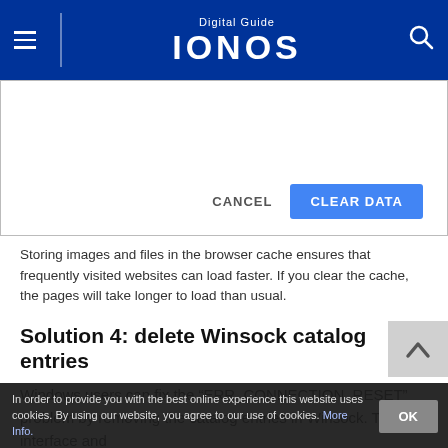Digital Guide IONOS
[Figure (screenshot): Browser dialog with CANCEL and CLEAR DATA buttons]
Storing images and files in the browser cache ensures that frequently visited websites can load faster. If you clear the cache, the pages will take longer to load than usual.
Solution 4: delete Winsock catalog entries
Windows users can fix the “ERR_CONNECTION_RESET” problem by removing the catalog entries in Winsock. The interface and
In order to provide you with the best online experience this website uses cookies. By using our website, you agree to our use of cookies. More Info.